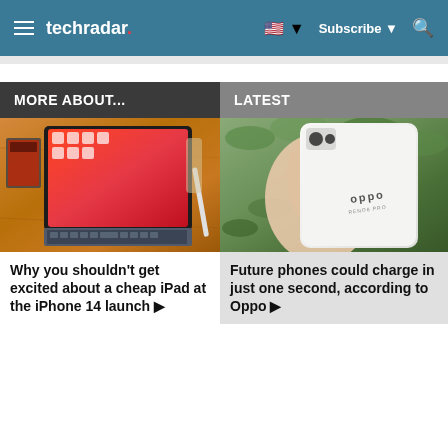techradar — Subscribe — Search
MORE ABOUT...
LATEST
[Figure (photo): iPad with Smart Keyboard on a wooden table]
Why you shouldn't get excited about a cheap iPad at the iPhone 14 launch ▶
[Figure (photo): Hand holding a white Oppo smartphone outdoors]
Future phones could charge in just one second, according to Oppo ▶